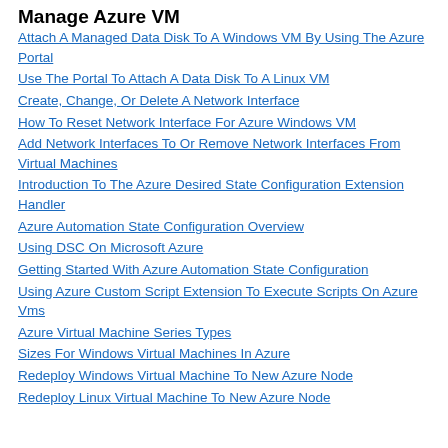Manage Azure VM
Attach A Managed Data Disk To A Windows VM By Using The Azure Portal
Use The Portal To Attach A Data Disk To A Linux VM
Create, Change, Or Delete A Network Interface
How To Reset Network Interface For Azure Windows VM
Add Network Interfaces To Or Remove Network Interfaces From Virtual Machines
Introduction To The Azure Desired State Configuration Extension Handler
Azure Automation State Configuration Overview
Using DSC On Microsoft Azure
Getting Started With Azure Automation State Configuration
Using Azure Custom Script Extension To Execute Scripts On Azure Vms
Azure Virtual Machine Series Types
Sizes For Windows Virtual Machines In Azure
Redeploy Windows Virtual Machine To New Azure Node
Redeploy Linux Virtual Machine To New Azure Node